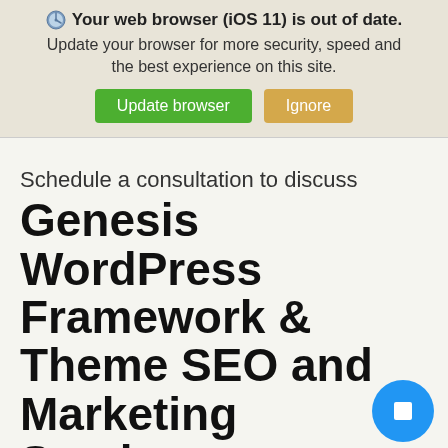Your web browser (iOS 11) is out of date. Update your browser for more security, speed and the best experience on this site.
Update browser | Ignore
Schedule a consultation to discuss
Genesis WordPress Framework & Theme SEO and Marketing Services
for your small or midsize business